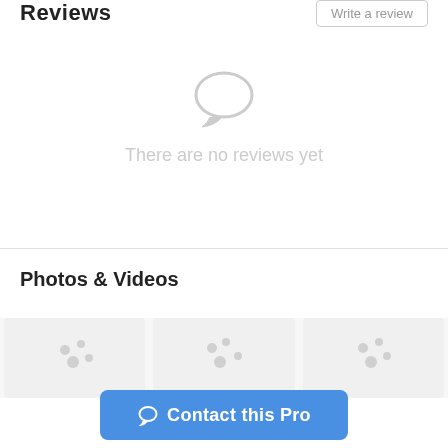Reviews
Write a review
[Figure (illustration): Gray speech bubble / chat icon indicating no reviews]
There are no reviews yet
Photos & Videos
[Figure (illustration): Three placeholder image tiles with loading/empty state dot patterns]
Contact this Pro